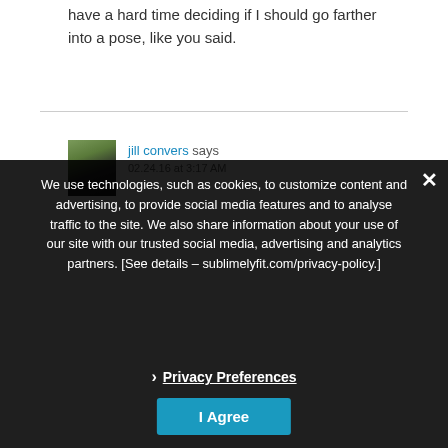have a hard time deciding if I should go farther into a pose, like you said.
jill convers says
02.24.16 at 3:17 AM
We use technologies, such as cookies, to customize content and advertising, to provide social media features and to analyse traffic to the site. We also share information about your use of our site with our trusted social media, advertising and analytics partners. [See details – sublimelyfit.com/privacy-policy.]
Privacy Preferences
I Agree